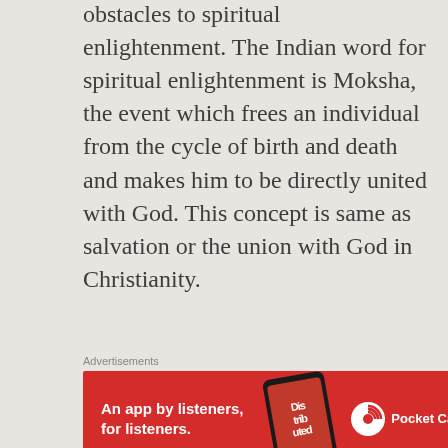obstacles to spiritual enlightenment. The Indian word for spiritual enlightenment is Moksha, the event which frees an individual from the cycle of birth and death and makes him to be directly united with God. This concept is same as salvation or the union with God in Christianity.
[Figure (other): Advertisement banner for Pocket Casts app — red background with text 'An app by listeners, for listeners.' and Pocket Casts logo on the right, phone image in center showing 'Distributed' text]
Reading this book increased my desire to see God in a physical form. Ramakrishna used to say that if somebody shed tears in the desire to see God, then he would definitely see God in this lifetime and attain liberation